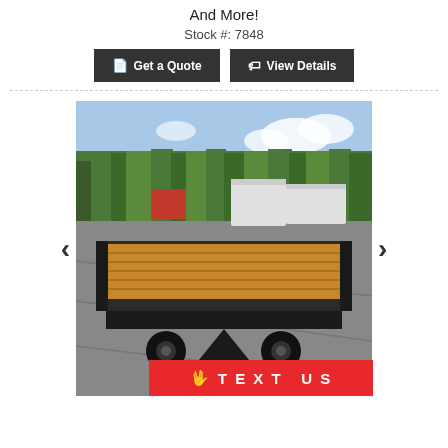And More!
Stock #: 7848
Get a Quote
View Details
[Figure (photo): A black flatbed/tilt trailer with wood deck photographed from the rear-front angle in a dealer lot surrounded by trees and other trailers.]
TEXT US